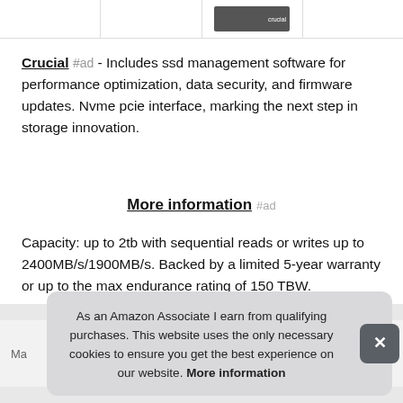[Figure (screenshot): Top strip showing four product image cells, third cell contains a dark SSD product image with Crucial logo]
Crucial #ad - Includes ssd management software for performance optimization, data security, and firmware updates. Nvme pcie interface, marking the next step in storage innovation.
More information #ad
Capacity: up to 2tb with sequential reads or writes up to 2400MB/s/1900MB/s. Backed by a limited 5-year warranty or up to the max endurance rating of 150 TBW.
As an Amazon Associate I earn from qualifying purchases. This website uses the only necessary cookies to ensure you get the best experience on our website. More information